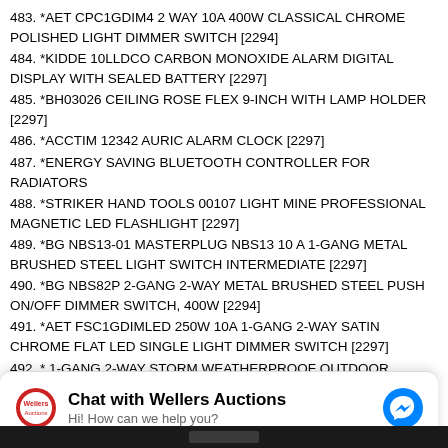483. *AET CPC1GDIM4 2 WAY 10A 400W CLASSICAL CHROME POLISHED LIGHT DIMMER SWITCH [2294]
484. *KIDDE 10LLDCO CARBON MONOXIDE ALARM DIGITAL DISPLAY WITH SEALED BATTERY [2297]
485. *BH03026 CEILING ROSE FLEX 9-INCH WITH LAMP HOLDER [2297]
486. *ACCTIM 12342 AURIC ALARM CLOCK [2297]
487. *ENERGY SAVING BLUETOOTH CONTROLLER FOR RADIATORS
488. *STRIKER HAND TOOLS 00107 LIGHT MINE PROFESSIONAL MAGNETIC LED FLASHLIGHT [2297]
489. *BG NBS13-01 MASTERPLUG NBS13 10 A 1-GANG METAL BRUSHED STEEL LIGHT SWITCH INTERMEDIATE [2297]
490. *BG NBS82P 2-GANG 2-WAY METAL BRUSHED STEEL PUSH ON/OFF DIMMER SWITCH, 400W [2294]
491. *AET FSC1GDIMLED 250W 10A 1-GANG 2-WAY SATIN CHROME FLAT LED SINGLE LIGHT DIMMER SWITCH [2297]
492. * 1-GANG 2-WAY STORM WEATHERPROOF OUTDOOR RETRACTIVE PRESS OUTDOOR SWITCH [2294]
This website uses cookies to store your preferences. We'll
Chat with Wellers Auctions
Hi! How can we help you?